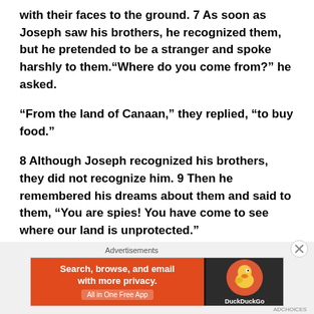with their faces to the ground. 7 As soon as Joseph saw his brothers, he recognized them, but he pretended to be a stranger and spoke harshly to them.“Where do you come from?” he asked.
“From the land of Canaan,” they replied, “to buy food.”
8 Although Joseph recognized his brothers, they did not recognize him. 9 Then he remembered his dreams about them and said to them, “You are spies! You have come to see where our land is unprotected.”
[Figure (other): DuckDuckGo advertisement banner with orange left panel reading 'Search, browse, and email with more privacy. All in One Free App' and dark right panel with DuckDuckGo duck logo]